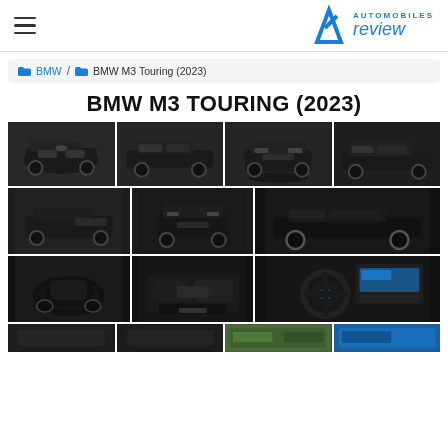Automobiles Review
BMW / BMW M3 Touring (2023)
BMW M3 TOURING (2023)
[Figure (photo): Photo gallery grid of BMW M3 Touring (2023) showing exterior and interior views of a black car from various angles]
[Figure (photo): Row of partial car photos at bottom of page]